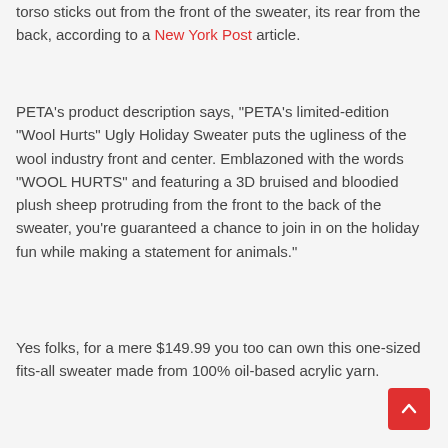torso sticks out from the front of the sweater, its rear from the back, according to a New York Post article.
PETA's product description says, “PETA’s limited-edition “Wool Hurts” Ugly Holiday Sweater puts the ugliness of the wool industry front and center. Emblazoned with the words “WOOL HURTS” and featuring a 3D bruised and bloodied plush sheep protruding from the front to the back of the sweater, you’re guaranteed a chance to join in on the holiday fun while making a statement for animals.”
Yes folks, for a mere $149.99 you too can own this one-sized fits-all sweater made from 100% oil-based acrylic yarn.